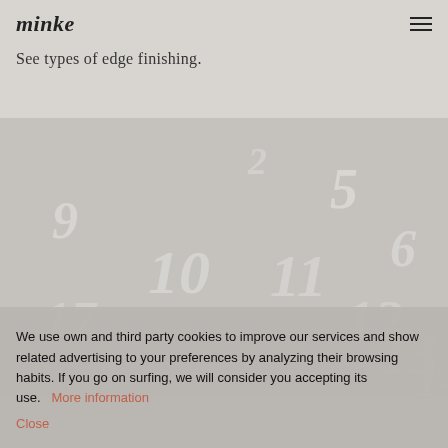minke
See types of edge finishing.
[Figure (photo): Close-up photo of a clock or numbered dial showing numbers including 5, 6, 9, 10, 11, 12, 13, 14, 17 in a serif italic font, appearing faded/light against a grey background]
We use own and third party cookies to improve our services and show related advertising to your preferences by analyzing their browsing habits. If you go on surfing, we will consider you accepting its use.   More information
Close